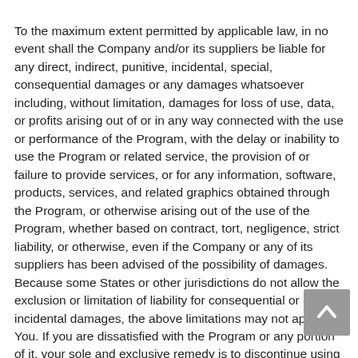To the maximum extent permitted by applicable law, in no event shall the Company and/or its suppliers be liable for any direct, indirect, punitive, incidental, special, consequential damages or any damages whatsoever including, without limitation, damages for loss of use, data, or profits arising out of or in any way connected with the use or performance of the Program, with the delay or inability to use the Program or related service, the provision of or failure to provide services, or for any information, software, products, services, and related graphics obtained through the Program, or otherwise arising out of the use of the Program, whether based on contract, tort, negligence, strict liability, or otherwise, even if the Company or any of its suppliers has been advised of the possibility of damages. Because some States or other jurisdictions do not allow the exclusion or limitation of liability for consequential or incidental damages, the above limitations may not apply to You. If you are dissatisfied with the Program or any portion of it, your sole and exclusive remedy is to discontinue using the Program.